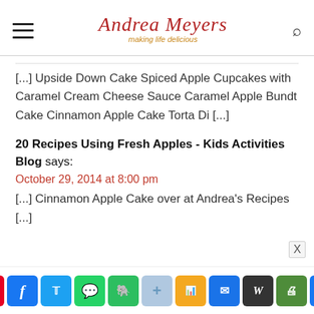Andrea Meyers — making life delicious
[...] Upside Down Cake Spiced Apple Cupcakes with Caramel Cream Cheese Sauce Caramel Apple Bundt Cake Cinnamon Apple Cake Torta Di [...]
20 Recipes Using Fresh Apples - Kids Activities Blog says:
October 29, 2014 at 8:00 pm
[...] Cinnamon Apple Cake over at Andrea's Recipes [...]